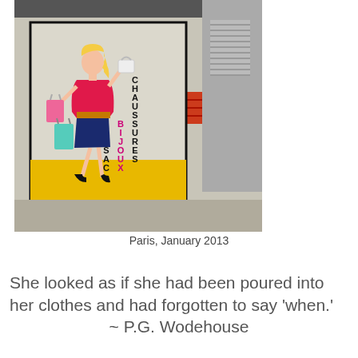[Figure (photo): Photograph of a Parisian shop sign showing a stylized fashion illustration of a blonde woman in pink carrying shopping bags, with vertical text reading SAC, BIJOUX (in pink), and CHAUSSURES. Watermark reads bobbirubinstein.com.]
Paris, January 2013
She looked as if she had been poured into her clothes and had forgotten to say 'when.' ~ P.G. Wodehouse